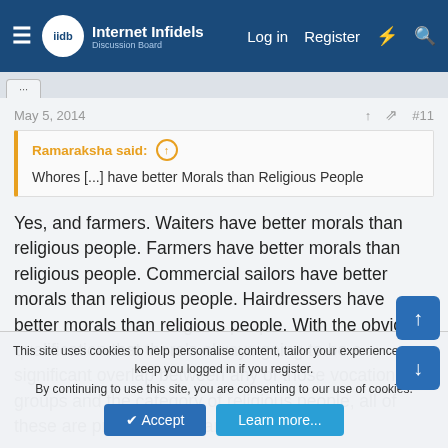Internet Infidels | Log in | Register
May 5, 2014  #11
Ramaraksha said: ↑
Whores [...] have better Morals than Religious People
Yes, and farmers. Waiters have better morals than religious people. Farmers have better morals than religious people. Commercial sailors have better morals than religious people. Hairdressers have better morals than religious people. With the obvious qualification that there's always going to be a significant overlap between any of those vocational groups and the category of religious people, all of these are probably true, and
This site uses cookies to help personalise content, tailor your experience and to keep you logged in if you register.
By continuing to use this site, you are consenting to our use of cookies.
Accept   Learn more...